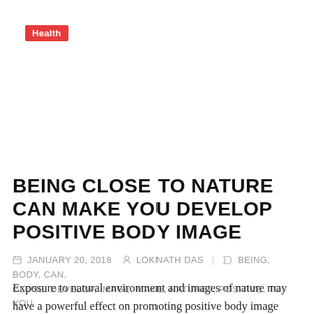Health
BEING CLOSE TO NATURE CAN MAKE YOU DEVELOP POSITIVE BODY IMAGE
📅 JANUARY 20, 2018   👤 LOKNATH DAS  |  🏷 BEING, BODY, CAN, CLOSE, DEVELOP, IMAGE, MAKE, NATURE?, POSITIVE, TO, YOU
Exposure to natural environment and images of nature may have a powerful effect on promoting positive body image